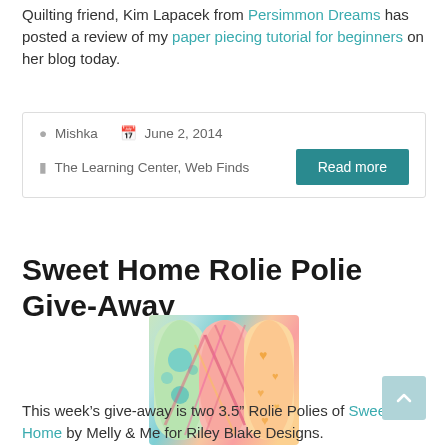Quilting friend, Kim Lapacek from Persimmon Dreams has posted a review of my paper piecing tutorial for beginners on her blog today.
Mishka   June 2, 2014   The Learning Center, Web Finds
Read more
Sweet Home Rolie Polie Give-Away
[Figure (photo): Three rolled fabric bolts with colorful patterns - green with blue circles, pink/orange plaid, and peach with hearts]
This week's give-away is two 3.5" Rolie Polies of Sweet Home by Melly & Me for Riley Blake Designs.